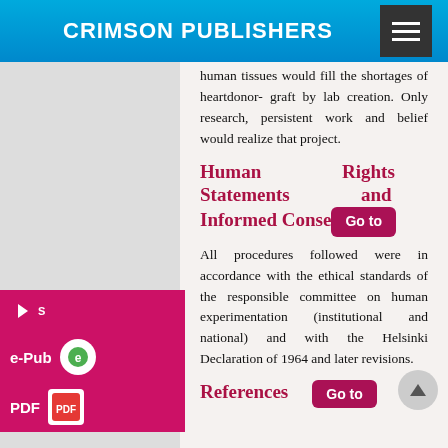CRIMSON PUBLISHERS
human tissues would fill the shortages of heartdonor- graft by lab creation. Only research, persistent work and belief would realize that project.
Human Rights Statements and Informed Consent
All procedures followed were in accordance with the ethical standards of the responsible committee on human experimentation (institutional and national) and with the Helsinki Declaration of 1964 and later revisions.
References